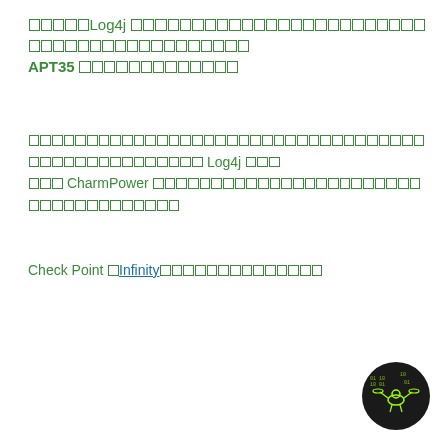□□□□□Log4j □□□□□□□□□□□□□□□□□□□□□□□□□□□□□□□□□□□□□□□□□□ APT35 □□□□□□□□□□□□□
□□□□□□□□□□□□□□□□□□□□□□□□□□□□□□□□□□□□□□□□□□□□□□□ Log4j □□□ □□□ CharmPower □□□□□□□□□□□□□□□□□□□□□□□□□□□□□□□□□□□□□
Check Point □Infinity□□□□□□□□□□□□□□□
[Figure (logo): Check Point cybersecurity logo — circular dark badge with green binary code pattern and drone/spider icon in neon green outline]